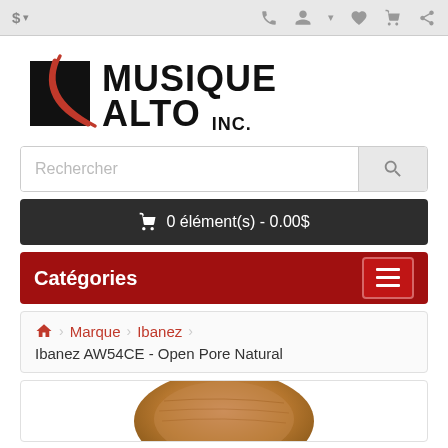$ ▾  [phone] [user] ▾ [heart] [cart] [share]
[Figure (logo): Musique Alto Inc. logo with black triangle and red arc motif]
Rechercher
🛒 0 élément(s) - 0.00$
Catégories
🏠 › Marque › Ibanez › Ibanez AW54CE - Open Pore Natural
[Figure (photo): Partial view of an acoustic guitar body, natural wood finish (Ibanez AW54CE Open Pore Natural)]